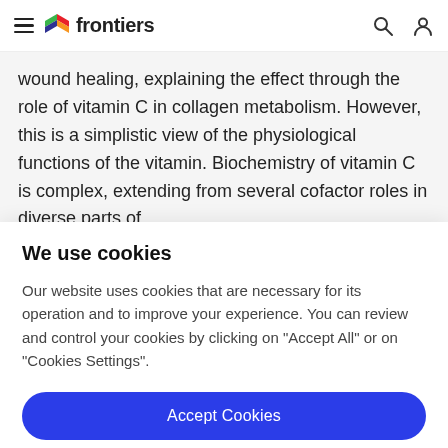frontiers
wound healing, explaining the effect through the role of vitamin C in collagen metabolism. However, this is a simplistic view of the physiological functions of the vitamin. Biochemistry of vitamin C is complex, extending from several cofactor roles in diverse parts of
We use cookies
Our website uses cookies that are necessary for its operation and to improve your experience. You can review and control your cookies by clicking on "Accept All" or on "Cookies Settings".
Accept Cookies
Cookies Settings